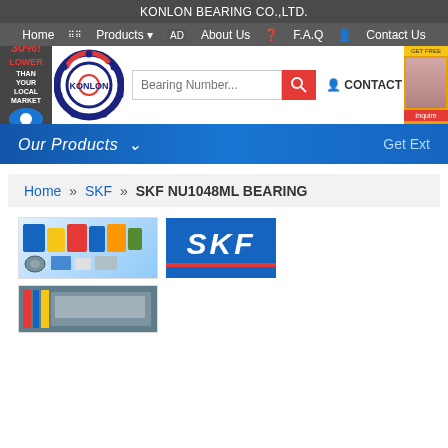KONLON BEARING CO.,LTD.
Home   Products   About Us   F.A.Q   Contact Us
[Figure (logo): Konlon Bearing Co. circular logo with bearing design and KONLON text]
30%! LOWER THAN YOUR LOCAL MARKET
Bearing Number... [search]   CONTACT
[Figure (photo): Advertisement banner with person on phone]
Our Products
Get Ext
Home » SKF » SKF NU1048ML BEARING
[Figure (photo): SKF bearing products assortment photo]
[Figure (logo): SKF blue logo with red underline]
[Figure (photo): SKF product display storefront image]